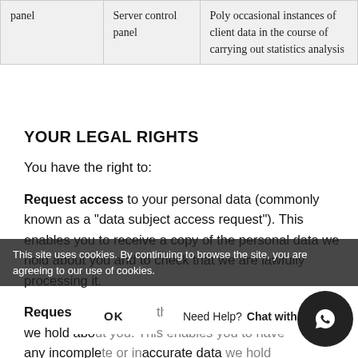| panel | Server control panel | Poly occasional instances of client data in the course of carrying out statistics analysis |
YOUR LEGAL RIGHTS
You have the right to:
Request access to your personal data (commonly known as a “data subject access request”). This enables you to receive a copy of the personal data we hold about you and to check that we are lawfully processing it.
Request correction of the personal data that we hold about you. This enables you to have any incomplete or inaccurate data we hold